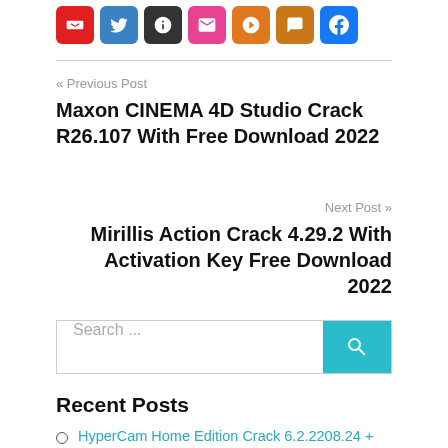[Figure (other): Row of social share icon buttons: red, blue, dark/black, pink, orange, amber, blue]
« Previous Post
Maxon CINEMA 4D Studio Crack R26.107 With Free Download 2022
Next Post »
Mirillis Action Crack 4.29.2 With Activation Key Free Download 2022
Search ...
Recent Posts
HyperCam Home Edition Crack 6.2.2208.24 +